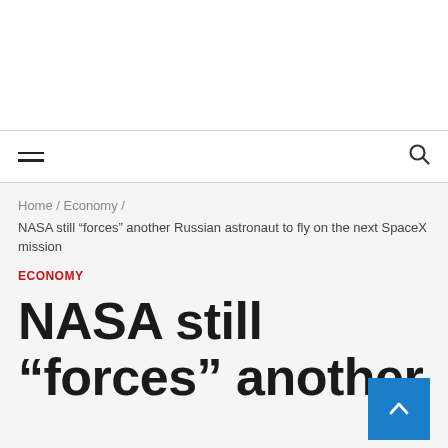Home / Economy / NASA still “forces” another Russian astronaut to fly on the next SpaceX mission
ECONOMY
NASA still “forces” another